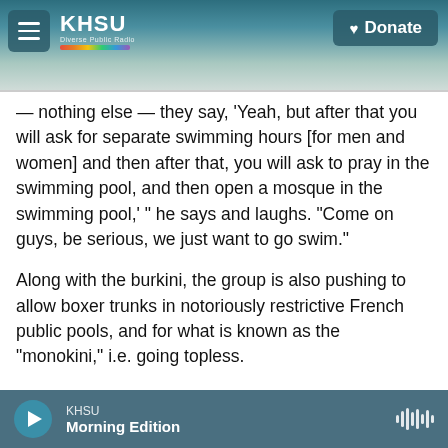KHSU — Diverse Public Radio | Donate
— nothing else — they say, 'Yeah, but after that you will ask for separate swimming hours [for men and women] and then after that, you will ask to pray in the swimming pool, and then open a mosque in the swimming pool,' " he says and laughs. "Come on guys, be serious, we just want to go swim."
Along with the burkini, the group is also pushing to allow boxer trunks in notoriously restrictive French public pools, and for what is known as the "monokini," i.e. going topless.
Two of the community organizers are also in the
KHSU Morning Edition